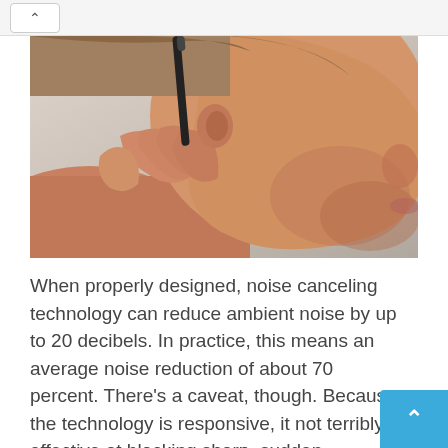[Figure (photo): Close-up photo of a man in profile holding a small black pen/stylus near his ear, with stubble on his face, against a light background.]
When properly designed, noise canceling technology can reduce ambient noise by up to 20 decibels. In practice, this means an average noise reduction of about 70 percent. There’s a caveat, though. Because the technology is responsive, it not terribly effective at blocking sharp, sudden